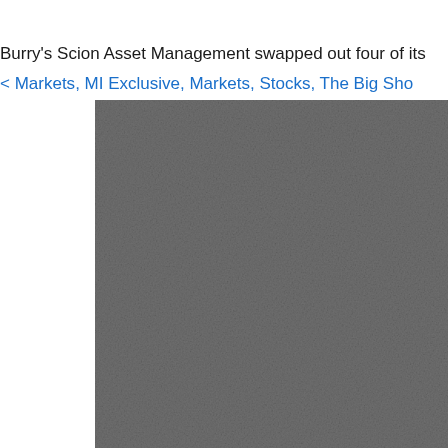Burry's Scion Asset Management swapped out four of its
< Markets, MI Exclusive, Markets, Stocks, The Big Sho…
[Figure (photo): A gray textured image area, partially visible, appearing to be a photograph with muted gray tones.]